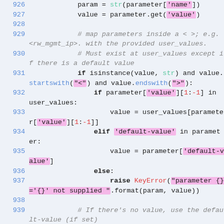[Figure (screenshot): Python source code snippet showing lines 926-940, with syntax highlighting. Line numbers in blue on the left, string literals highlighted in pink/magenta, built-in names in green, comments in gray italic, method names in blue, and error class names in red/salmon.]